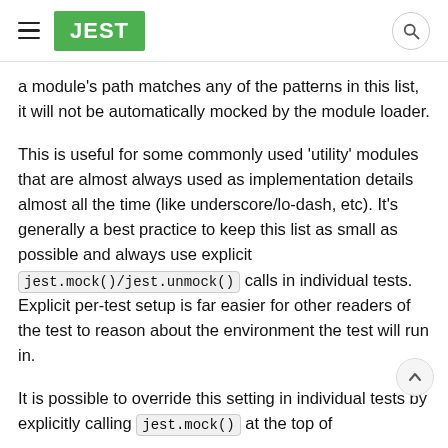JEST
a module's path matches any of the patterns in this list, it will not be automatically mocked by the module loader.
This is useful for some commonly used 'utility' modules that are almost always used as implementation details almost all the time (like underscore/lo-dash, etc). It's generally a best practice to keep this list as small as possible and always use explicit jest.mock()/jest.unmock() calls in individual tests. Explicit per-test setup is far easier for other readers of the test to reason about the environment the test will run in.
It is possible to override this setting in individual tests by explicitly calling jest.mock() at the top of